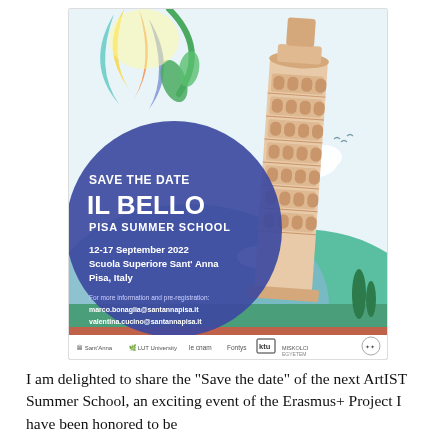[Figure (illustration): Event poster for 'IL BELLO Pisa Summer School' featuring the Leaning Tower of Pisa illustration, colorful decorative elements, event date 12-17 September 2022 at Scuola Superiore Sant'Anna, Pisa, Italy, contact emails, and university/institution logos at the bottom.]
I am delighted to share the “Save the date” of the next ArtIST Summer School, an exciting event of the Erasmus+ Project I have been honored to be